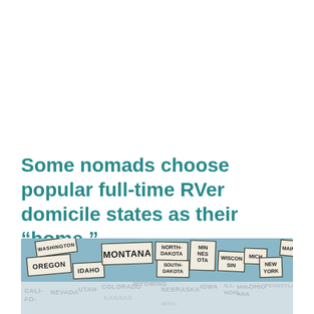Some nomads choose popular full-time RVer domicile states as their “home.”
[Figure (map): Illustrated map of the United States showing state name labels in a vintage poster style, with a light blue background. States visible include Washington, Oregon, Idaho, Montana, North Dakota, South Dakota, Minnesota, Wisconsin, Michigan, New York, Maine, Nevada, Utah, Colorado, Wyoming, Nebraska, Iowa, Illinois, Minnesota, Ohio, Pennsylvania, and others. Lower portion shows a reflection/faded view of southern states including California, Nevada, Utah, Colorado, Kansas, Nebraska, Iowa, Missouri, and others.]